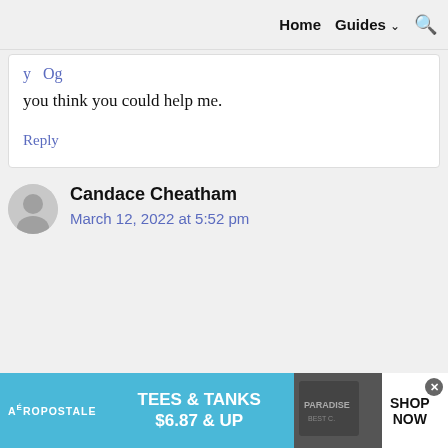Home   Guides ∨   🔍
you think you could help me.
Reply
Candace Cheatham
March 12, 2022 at 5:52 pm
[Figure (infographic): Aeropostale advertisement banner: TEES & TANKS $6.87 & UP, SHOP NOW, with image of clothing]